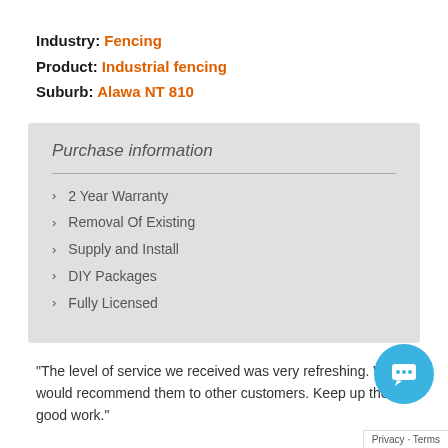Industry: Fencing
Product: Industrial fencing
Suburb: Alawa NT 810
Purchase information
2 Year Warranty
Removal Of Existing
Supply and Install
DIY Packages
Fully Licensed
"The level of service we received was very refreshing. We would recommend them to other customers. Keep up the good work."